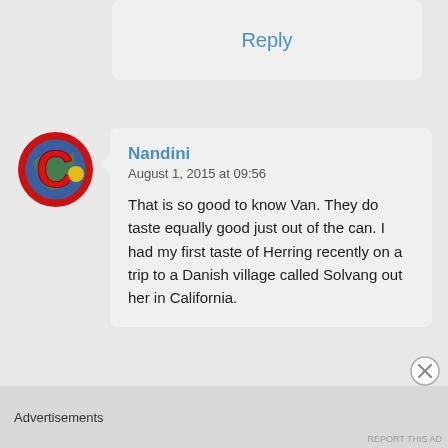Reply
[Figure (illustration): Circular avatar with red letter C logo and blue/yellow world map imagery]
Nandini
August 1, 2015 at 09:56
That is so good to know Van. They do taste equally good just out of the can. I had my first taste of Herring recently on a trip to a Danish village called Solvang out her in California.
Advertisements